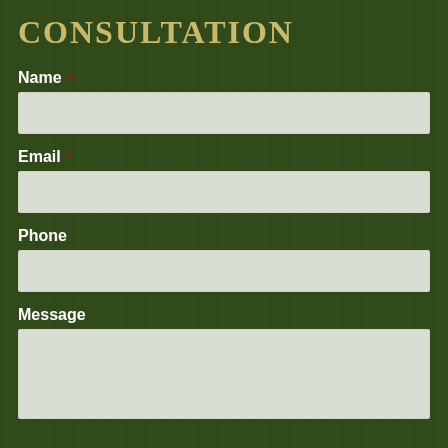CONSULTATION
Name *
[Figure (other): Empty text input field for Name]
Email *
[Figure (other): Empty text input field for Email]
Phone
[Figure (other): Empty text input field for Phone]
Message
[Figure (other): Empty textarea input field for Message]